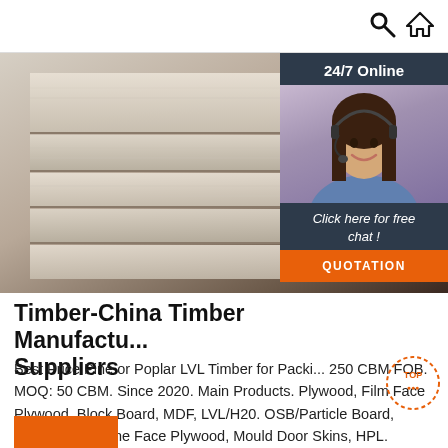Search | Home
[Figure (photo): Stack of plywood/timber sheets viewed from the side showing layered wood texture, with a 24/7 online chat agent (woman with headset) overlay on the right side]
Timber-China Timber Manufacturers Suppliers
Best Price Pine or Poplar LVL Timber for Packing. 250 CBM FOB. MOQ: 50 CBM. Since 2020. Main Products. Plywood, Film Face Plywood, Block Board, MDF, LVL/H20. OSB/Particle Board, Veneer, Melamine Face Plywood, Mould Door Skins, HPL. Contact Supplier. Lanting Jixu (Shandong) Supply Chain Management Co., Ltd.